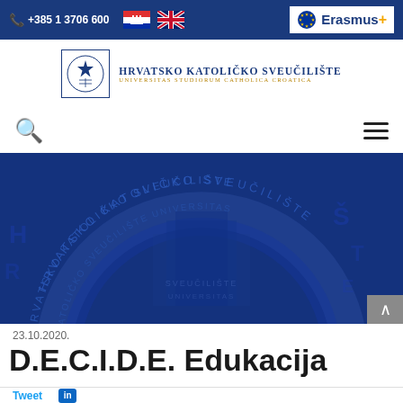+385 1 3706 600  [Croatian flag] [UK flag]  Erasmus+
[Figure (logo): Hrvatsko Katoličko Sveučilište university logo with emblem and text HRVATSKO KATOLIČKO SVEUČILIŠTE / UNIVERSITAS STUDIORUM CATHOLICA CROATICA]
[Figure (photo): Blue-toned hero banner showing embossed university seal/arch with text HRVATSKO KATOLIČKO SVEUČILIŠTE in circular arrangement]
23.10.2020.
D.E.C.I.D.E. Edukacija